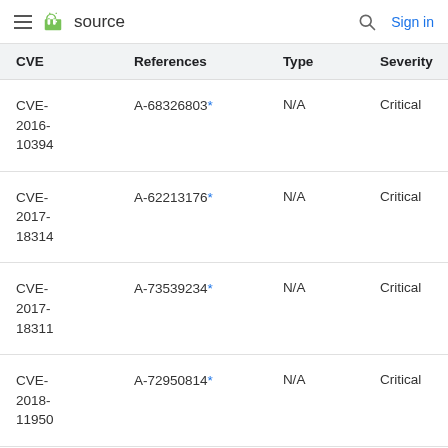source  Sign in
| CVE | References | Type | Severity | Component |
| --- | --- | --- | --- | --- |
| CVE-2016-10394 | A-68326803* | N/A | Critical | Closed-source component |
| CVE-2017-18314 | A-62213176* | N/A | Critical | Closed-source component |
| CVE-2017-18311 | A-73539234* | N/A | Critical | Closed-source component |
| CVE-2018-11950 | A-72950814* | N/A | Critical | Closed-source component |